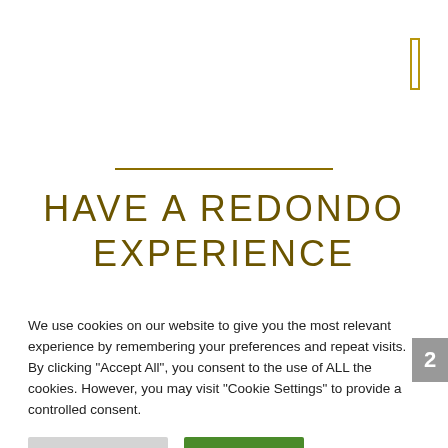[Figure (other): Gold outlined rectangle icon in top-right corner]
HAVE A REDONDO EXPERIENCE
We use cookies on our website to give you the most relevant experience by remembering your preferences and repeat visits. By clicking "Accept All", you consent to the use of ALL the cookies. However, you may visit "Cookie Settings" to provide a controlled consent.
Cookie Settings | Accept All